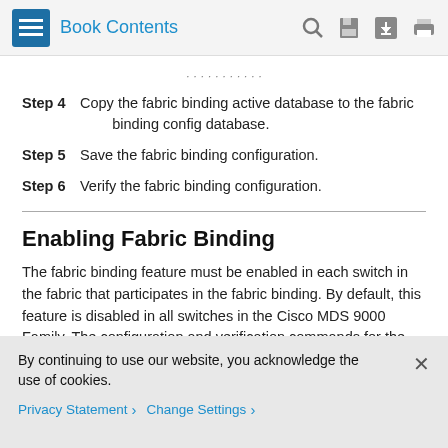Book Contents
Step 4 Copy the fabric binding active database to the fabric binding config database.
Step 5 Save the fabric binding configuration.
Step 6 Verify the fabric binding configuration.
Enabling Fabric Binding
The fabric binding feature must be enabled in each switch in the fabric that participates in the fabric binding. By default, this feature is disabled in all switches in the Cisco MDS 9000 Family. The configuration and verification commands for the fabric binding feature are only available when fabric binding is
By continuing to use our website, you acknowledge the use of cookies.
Privacy Statement › Change Settings ›